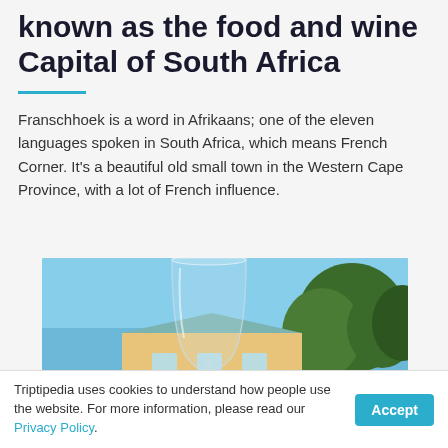known as the food and wine Capital of South Africa
Franschhoek is a word in Afrikaans; one of the eleven languages spoken in South Africa, which means French Corner. It’s a beautiful old small town in the Western Cape Province, with a lot of French influence.
[Figure (photo): A photo of a wine glass in the foreground with a yellow Cape Dutch-style building and green trees under blue sky in the background, taken in Franschhoek, South Africa.]
Triptipedia uses cookies to understand how people use the website. For more information, please read our Privacy Policy.  Accept